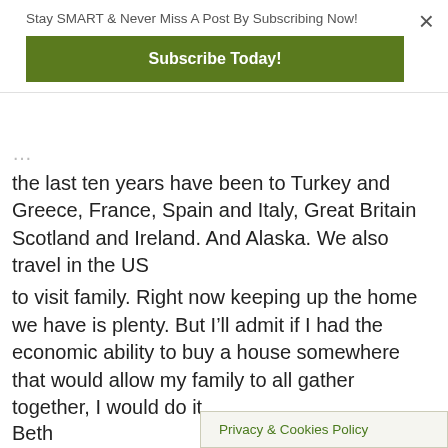Stay SMART & Never Miss A Post By Subscribing Now!
Subscribe Today!
the last ten years have been to Turkey and Greece, France, Spain and Italy, Great Britain Scotland and Ireland. And Alaska. We also travel in the US
to visit family. Right now keeping up the home we have is plenty. But I’ll admit if I had the economic ability to buy a house somewhere that would allow my family to all gather together, I would do it.
Beth
Privacy & Cookies Policy